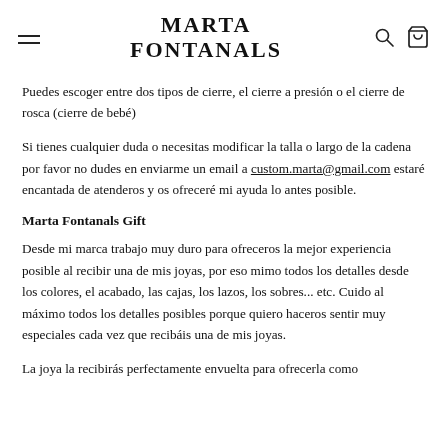MARTA FONTANALS
Puedes escoger entre dos tipos de cierre, el cierre a presión o el cierre de rosca (cierre de bebé)
Si tienes cualquier duda o necesitas modificar la talla o largo de la cadena por favor no dudes en enviarme un email a custom.marta@gmail.com estaré encantada de atenderos y os ofreceré mi ayuda lo antes posible.
Marta Fontanals Gift
Desde mi marca trabajo muy duro para ofreceros la mejor experiencia posible al recibir una de mis joyas, por eso mimo todos los detalles desde los colores, el acabado, las cajas, los lazos, los sobres... etc. Cuido al máximo todos los detalles posibles porque quiero haceros sentir muy especiales cada vez que recibáis una de mis joyas.
La joya la recibirás perfectamente envuelta para ofrecerla como